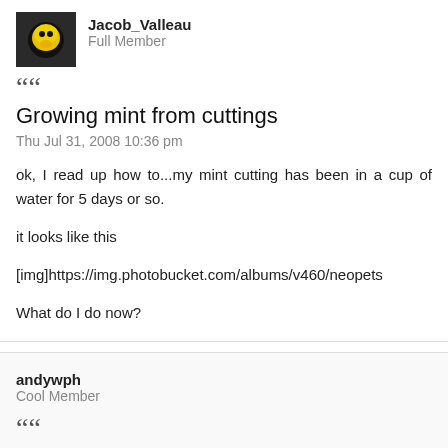Jacob_Valleau
Full Member
““
Growing mint from cuttings
Thu Jul 31, 2008 10:36 pm
ok, I read up how to...my mint cutting has been in a cup of water for 5 days or so.
it looks like this
[img]https://img.photobucket.com/albums/v460/neopets
What do I do now?
andywph
Cool Member
““